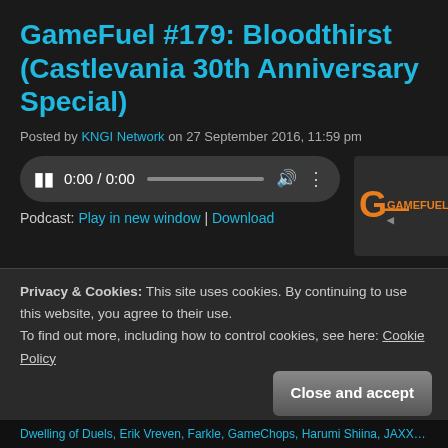GameFuel #179: Bloodthirst (Castlevania 30th Anniversary Special)
Posted by KNGI Network on 27 September 2016, 11:59 pm
[Figure (screenshot): Audio player control bar with pause button, time display 0:00 / 0:00, progress bar, volume and options icons. GameFuel logo thumbnail to the right.]
Podcast: Play in new window | Download
Podcast: Play in new window | DownloadWhat better way to celebrate Castlevania's 30th anniversary than with remixes from
Privacy & Cookies: This site uses cookies. By continuing to use this website, you agree to their use.
To find out more, including how to control cookies, see here: Cookie Policy
Close and accept
Dwelling of Duels, Erik Vreven, Farkle, GameChops, Harumi Shiina, JAXX, Jorito, Joshua